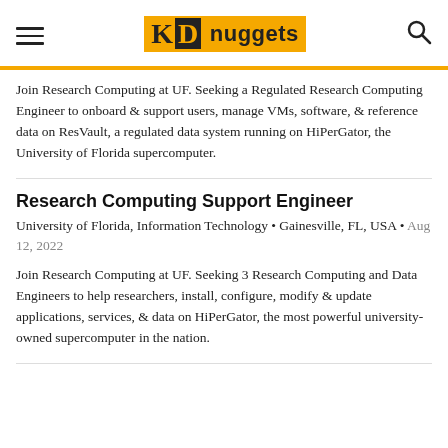[Figure (logo): KDnuggets logo with hamburger menu and search icon in page header]
Join Research Computing at UF. Seeking a Regulated Research Computing Engineer to onboard & support users, manage VMs, software, & reference data on ResVault, a regulated data system running on HiPerGator, the University of Florida supercomputer.
Research Computing Support Engineer
University of Florida, Information Technology • Gainesville, FL, USA • Aug 12, 2022
Join Research Computing at UF. Seeking 3 Research Computing and Data Engineers to help researchers, install, configure, modify & update applications, services, & data on HiPerGator, the most powerful university-owned supercomputer in the nation.